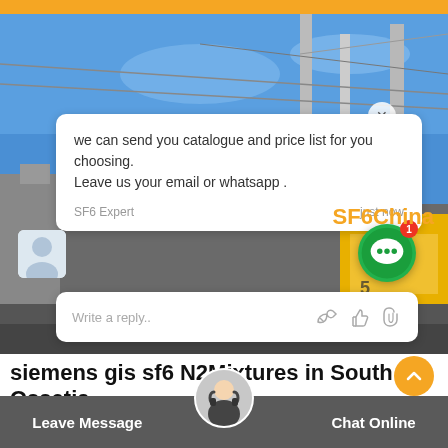[Figure (screenshot): Website screenshot showing a chat widget overlay on an industrial/electrical substation photo background. Chat bubble says 'we can send you catalogue and price list for you choosing. Leave us your email or whatsapp .' attributed to 'SF6 Expert' with timestamp 'just now'. A reply input box below reads 'Write a reply..'. SF6China watermark visible. Green chat icon with badge showing 1. Orange scroll-up button.]
siemens gis sf6 N2Mixtures in South Ossetia
Leave Message   Chat Online
Jul 11, 2021a huejotzingo mapa mit papier und kleister basteln